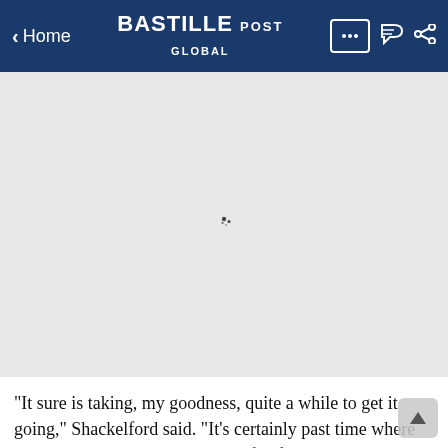< Home  BASTILLE POST GLOBAL
[Figure (photo): Light gray image placeholder with a small loading spinner/icon in the center, indicating an image that has not fully loaded.]
“It sure is taking, my goodness, quite a while to get it going,” Shackelford said. “It’s certainly past time where we could see some positive benefits from having it stood up.”
The Biden administration has made improving